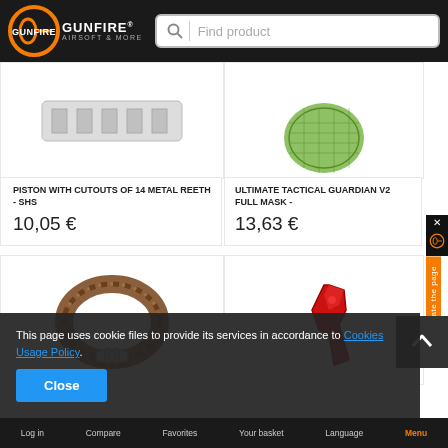[Figure (logo): Gunfire Airsoft & More logo on dark header with search bar]
[Figure (photo): Piston with cutouts product image (partially visible, white background)]
PISTON WITH CUTOUTS OF 14 METAL REETH - SHS
10,05 €
[Figure (photo): Ultimate Tactical Guardian V2 Full Mask product image - green mesh mask partially visible]
ULTIMATE TACTICAL GUARDIAN V2 FULL MASK -
13,63 €
[Figure (photo): Brown paracord bracelet with metal shackle clasp]
[Figure (photo): Red metal airsoft trigger]
This page uses cookie files to provide its services in accordance to Cookies Usage Policy.
Close
Log in   Compare   Favorites   Your basket   Language   Menu